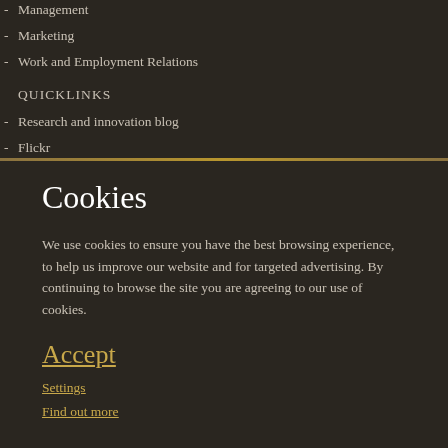Management
Marketing
Work and Employment Relations
QUICKLINKS
Research and innovation blog
Flickr
Cookies
We use cookies to ensure you have the best browsing experience, to help us improve our website and for targeted advertising. By continuing to browse the site you are agreeing to our use of cookies.
Accept
Settings
Find out more